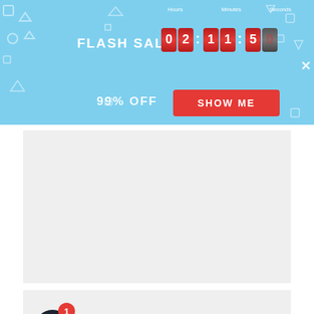[Figure (screenshot): Flash sale promotional banner with countdown timer showing 02:11:50, 99% OFF text and SHOW ME button on light blue background with geometric decorative shapes. A white X close button is in the top right.]
[Figure (screenshot): Gray rectangular content placeholder area]
[Figure (screenshot): Gray rectangular content area with a chat notification icon (dark circular chat bubble with red badge showing number 1)]